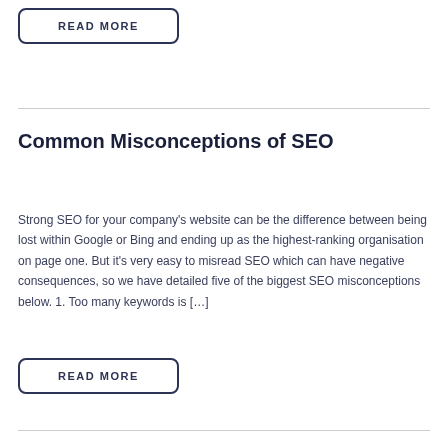READ MORE
Common Misconceptions of SEO
Strong SEO for your company's website can be the difference between being lost within Google or Bing and ending up as the highest-ranking organisation on page one. But it's very easy to misread SEO which can have negative consequences, so we have detailed five of the biggest SEO misconceptions below. 1. Too many keywords is […]
READ MORE
How long does it take to rank in search